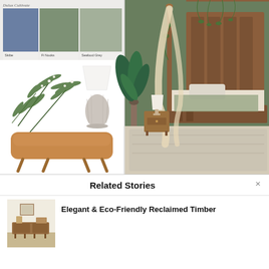[Figure (photo): Interior design mood board collage. Left side shows Dulux Cultivate paint swatches (blue 'Skibe', sage green 'Fi Nooks', grey-green 'Seafood Grey'), botanical foliage, ceramic table lamp, and tan leather bench. Right side shows a styled boho bohemian bedroom with sage green walls, wooden four-poster bed with cream drapes, indoor plants, and a small wooden nightstand with lamp.]
Related Stories
[Figure (photo): Thumbnail image of reclaimed timber furniture in a living room setting.]
Elegant & Eco-Friendly Reclaimed Timber